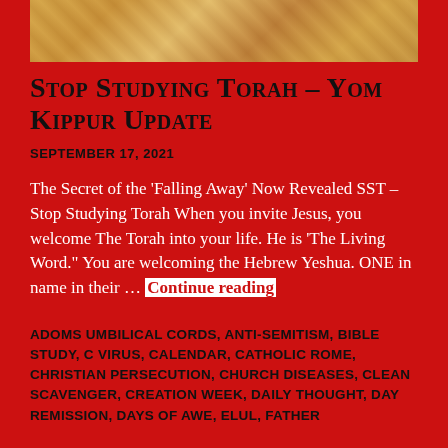[Figure (illustration): Partial illustration of a biblical/ancient scene with warm golden/amber tones showing architectural or ceremonial elements]
Stop Studying Torah – Yom Kippur Update
SEPTEMBER 17, 2021
The Secret of the 'Falling Away' Now Revealed SST – Stop Studying Torah When you invite Jesus, you welcome The Torah into your life. He is 'The Living Word." You are welcoming the Hebrew Yeshua. ONE in name in their … Continue reading
ADOMS UMBILICAL CORDS, ANTI-SEMITISM, BIBLE STUDY, C VIRUS, CALENDAR, CATHOLIC ROME, CHRISTIAN PERSECUTION, CHURCH DISEASES, CLEAN SCAVENGER, CREATION WEEK, DAILY THOUGHT, DAY REMISSION, DAYS OF AWE, ELUL, FATHER